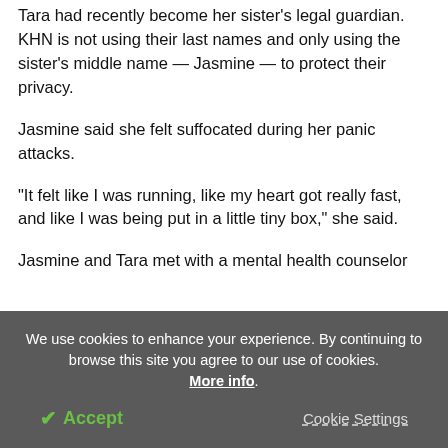Tara had recently become her sister's legal guardian. KHN is not using their last names and only using the sister's middle name — Jasmine — to protect their privacy.
Jasmine said she felt suffocated during her panic attacks.
“It felt like I was running, like my heart got really fast, and like I was being put in a little tiny box,” she said.
Jasmine and Tara met with a mental health counselor
We use cookies to enhance your experience. By continuing to browse this site you agree to our use of cookies. More info.